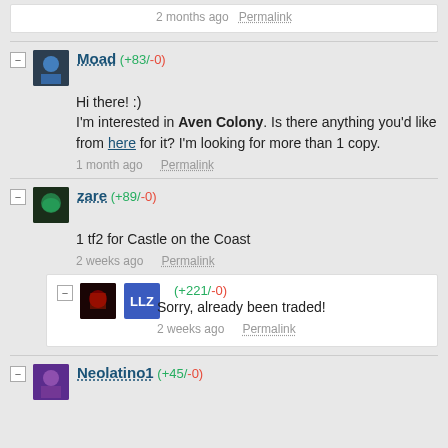2 months ago   Permalink
Moad (+83/-0)
Hi there! :)
I'm interested in Aven Colony. Is there anything you'd like from here for it? I'm looking for more than 1 copy.
1 month ago   Permalink
zare (+89/-0)
1 tf2 for Castle on the Coast
2 weeks ago   Permalink
LLZ (+221/-0)
Sorry, already been traded!
2 weeks ago   Permalink
Neolatino1 (+45/-0)